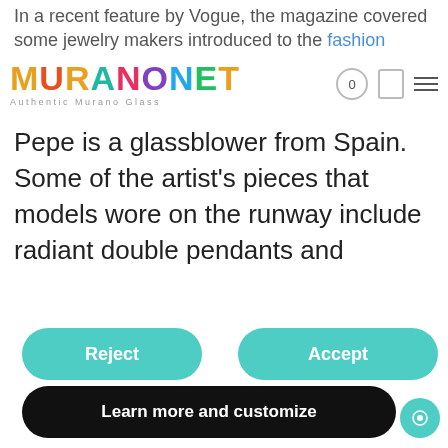MuranoNet - Authentic Murano Glass
In a recent feature by Vogue, the magazine covered some jewelry makers introduced to the fashion scene, including Gennaro Pepe.
Pepe is a glassblower from Spain. Some of the artist's pieces that models wore on the runway include radiant double pendants and
Notice
We and selected third parties use cookies or similar technologies for technical purposes and, with your consent, for other purposes as specified in the cookie policy. Denying consent may make related features unavailable.
Reject
Accept
Learn more and customize